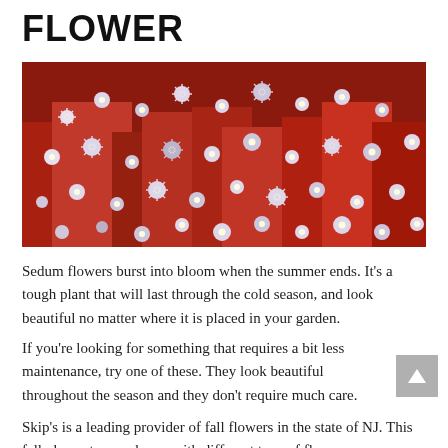FLOWER
[Figure (photo): Close-up photograph of sedum flowers in bloom — dense clusters of small white and pale-purple star-shaped flowers with red stems and buds filling the entire frame.]
Sedum flowers burst into bloom when the summer ends. It's a tough plant that will last through the cold season, and look beautiful no matter where it is placed in your garden.
If you're looking for something that requires a bit less maintenance, try one of these. They look beautiful throughout the season and they don't require much care.
Skip's is a leading provider of fall flowers in the state of NJ. This fall, decorate your home with different type of flowers,